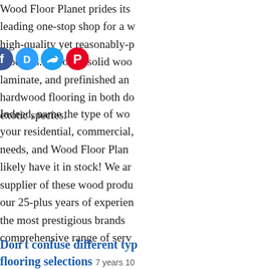Wood Floor Planet prides its leading one-stop shop for a wide high-quality yet reasonably-priced products. We offer solid wood, laminate, and prefinished and hardwood flooring in both domestic and exotic species.
Indeed, name the type of wood for your residential, commercial, needs, and Wood Floor Planet will likely have it in stock! We are a supplier of these wood products, with our 25-plus years of experience with the most prestigious brands and comprehensive range of services.
Don't confuse different types of flooring selections  7 years 10
Wood is a kind of choice as a material as a result of environmental restore ability, and sturdiness. several sort of wood materials